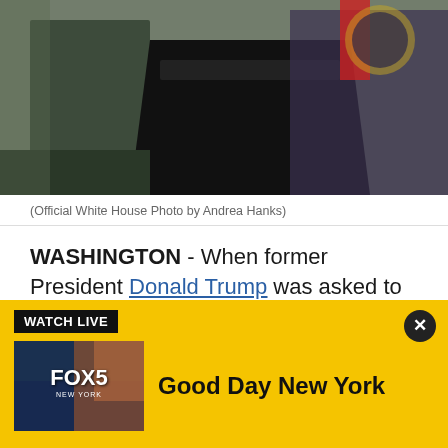[Figure (photo): Two figures at podiums in what appears to be a White House outdoor press conference setting]
(Official White House Photo by Andrea Hanks)
WASHINGTON - When former President Donald Trump was asked to list those he considers the future leaders of the Republican Party, he quickly rattled off names including Florida Gov. Ron DeSantis and Sens. Josh Hawley and Ted Cruz. Conspicuously absent from
[Figure (screenshot): Watch Live banner with FOX 5 New York thumbnail showing Good Day New York]